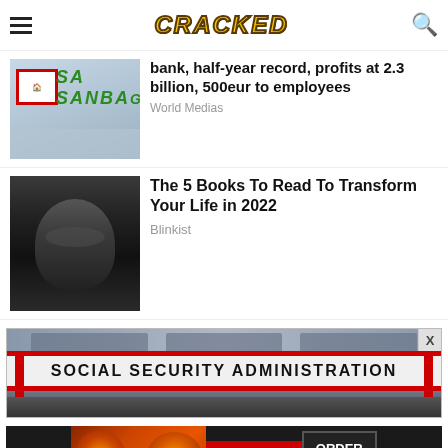CRACKED
[Figure (photo): Banca Sanbag storefront sign photo]
bank, half-year record, profits at 2.3 billion, 500eur to employees
World Medias
[Figure (photo): Black and white portrait of young man with long hair and glasses]
The 5 Books To Read To Transform Your Life in 2022
Blinkist
[Figure (photo): Social Security Administration building exterior with banner sign]
[Figure (photo): Seamless food delivery advertisement with pizza and ORDER NOW button]